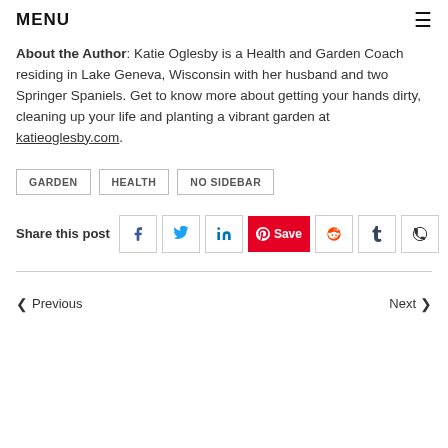MENU
About the Author: Katie Oglesby is a Health and Garden Coach residing in Lake Geneva, Wisconsin with her husband and two Springer Spaniels. Get to know more about getting your hands dirty, cleaning up your life and planting a vibrant garden at katieoglesby.com.
GARDEN
HEALTH
NO SIDEBAR
Share this post
Previous   Next